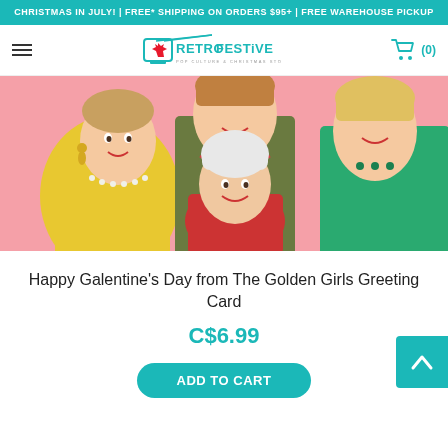CHRISTMAS IN JULY! | FREE* SHIPPING ON ORDERS $95+ | FREE WAREHOUSE PICKUP
[Figure (logo): RetroFestive Pop Culture & Christmas Store logo with maple leaf icon and teal cart icon showing (0) items]
[Figure (illustration): Pop-art style illustration of The Golden Girls characters against a pink background. Three women are shown: one in yellow jacket with pearl necklace, one in olive green jacket in the middle-back, and one in teal/green jacket on the right. A shorter woman with white hair wearing a red top is in the front center.]
Happy Galentine's Day from The Golden Girls Greeting Card
C$6.99